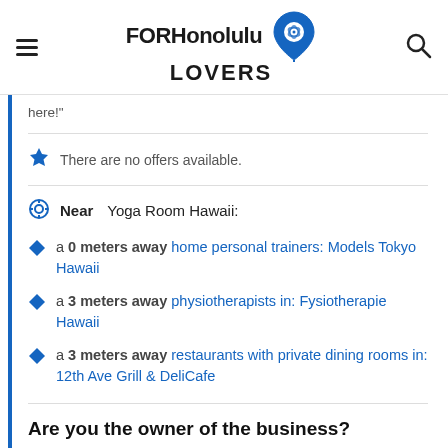FORHonolulu LOVERS
here!"
There are no offers available.
Near Yoga Room Hawaii:
a 0 meters away home personal trainers: Models Tokyo Hawaii
a 3 meters away physiotherapists in: Fysiotherapie Hawaii
a 3 meters away restaurants with private dining rooms in: 12th Ave Grill & DeliCafe
Are you the owner of the business? PROMOTE IT!